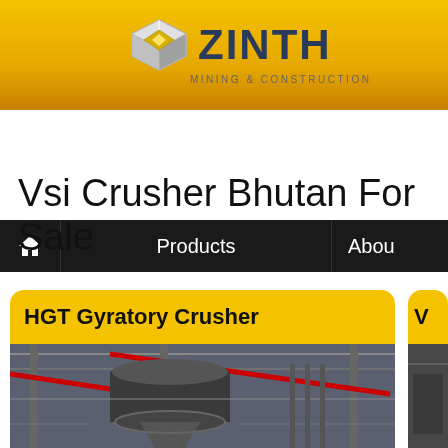[Figure (logo): ZINTH Mining & Construction logo with metallic diamond/cube icon and company name in dark blue]
Products  About
Vsi Crusher Bhutan For Sale
HGT Gyratory Crusher
[Figure (photo): Industrial gyratory crusher machine in a large factory/plant setting]
[Figure (photo): Partially visible second product card with industrial equipment photo]